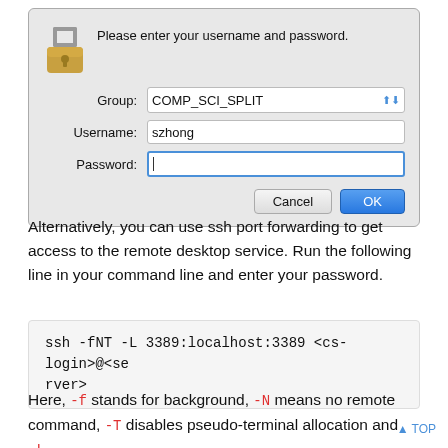[Figure (screenshot): macOS authentication dialog box showing fields for Group (COMP_SCI_SPLIT), Username (szhong), and Password (empty, focused), with Cancel and OK buttons]
Alternatively, you can use ssh port forwarding to get access to the remote desktop service. Run the following line in your command line and enter your password.
ssh -fNT -L 3389:localhost:3389 <cs-login>@<server>
Here, -f stands for background, -N means no remote command, -T disables pseudo-terminal allocation and -L 3389:localhost:3389 forwards the 3389 port at the remote